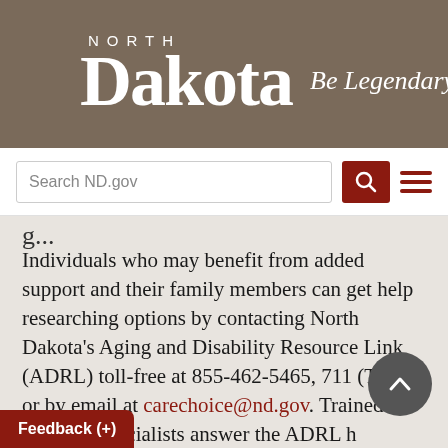[Figure (logo): North Dakota 'Be Legendary.' government logo on brown/tan background]
Search ND.gov [search button] [hamburger menu]
Individuals who may benefit from added support and their family members can get help researching options by contacting North Dakota's Aging and Disability Resource Link (ADRL) toll-free at 855-462-5465, 711 (TTY), or by email at carechoice@nd.gov. Trained resource specialists answer the ADRL hotline Monday – Friday, 8 a.m. – 5